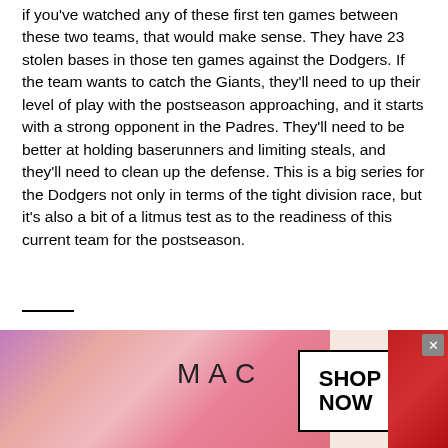if you've watched any of these first ten games between these two teams, that would make sense. They have 23 stolen bases in those ten games against the Dodgers. If the team wants to catch the Giants, they'll need to up their level of play with the postseason approaching, and it starts with a strong opponent in the Padres. They'll need to be better at holding baserunners and limiting steals, and they'll need to clean up the defense. This is a big series for the Dodgers not only in terms of the tight division race, but it's also a bit of a litmus test as to the readiness of this current team for the postseason.
Here's how Urías and Johnson matchup.
| 2021 | Julio Urías (139.2 IP) | Pierce Johnson (43.1 IP) |
| --- | --- | --- |
[Figure (photo): MAC Cosmetics advertisement banner showing lipsticks in purple, pink, and red shades with MAC logo and SHOP NOW button]